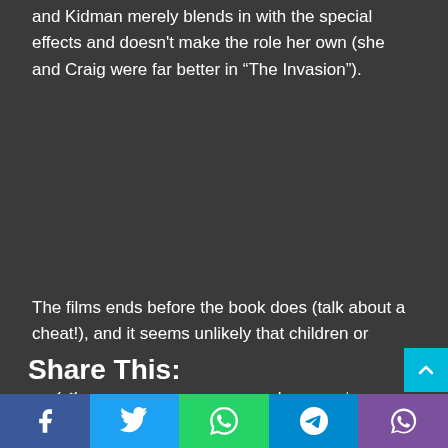and Kidman merely blends in with the special effects and doesn't make the role her own (she and Craig were far better in “The Invasion”).
The films ends before the book does (talk about a cheat!), and it seems unlikely that children or anyone would want more installments from what they get from this movie. On the plus side, the visual effects and production design are impressive, the talking bears are neat, and the little things that come across (like the nature of the “daemons”) are interesting. Yet, “The Golden Compass” isn't dark, heartfelt, intriguing or exciting enough overall and rates as this year's “Eragon”.
Share This:
[Figure (infographic): Social sharing buttons bar at the bottom: Facebook (blue), Twitter (light blue), WhatsApp (green), Telegram (dark blue), Viber (purple)]